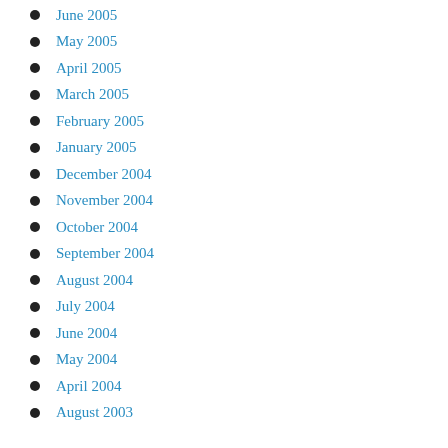June 2005
May 2005
April 2005
March 2005
February 2005
January 2005
December 2004
November 2004
October 2004
September 2004
August 2004
July 2004
June 2004
May 2004
April 2004
August 2003